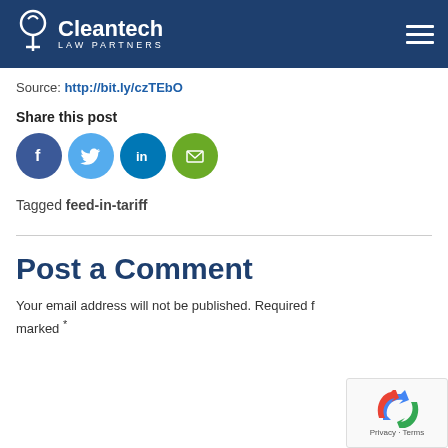Cleantech Law Partners
Source: http://bit.ly/czTEbO
Share this post
[Figure (other): Social media sharing icons: Facebook (dark blue circle), Twitter (light blue circle), LinkedIn (teal circle), Email (green circle)]
Tagged feed-in-tariff
Post a Comment
Your email address will not be published. Required fields are marked *